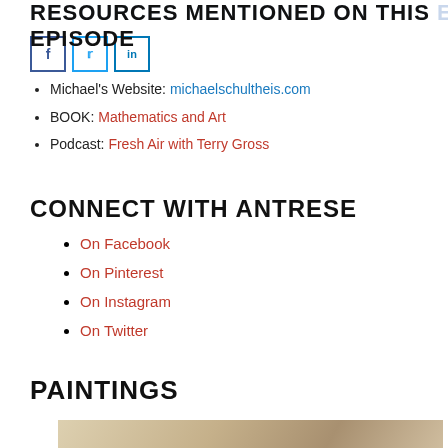RESOURCES MENTIONED ON THIS EPISODE
Michael's Website: michaelschultheis.com
BOOK: Mathematics and Art
Podcast: Fresh Air with Terry Gross
CONNECT WITH ANTRESE
On Facebook
On Pinterest
On Instagram
On Twitter
PAINTINGS
[Figure (photo): Partial view of a painting — tan/beige abstract artwork visible at bottom of page]